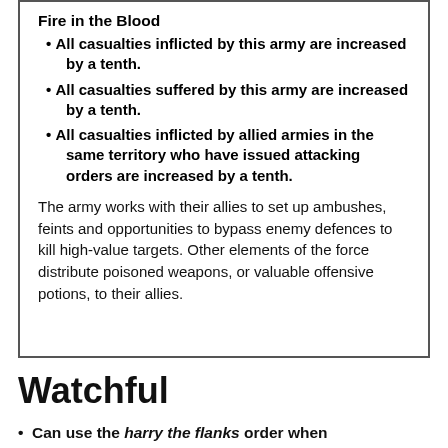Fire in the Blood
All casualties inflicted by this army are increased by a tenth.
All casualties suffered by this army are increased by a tenth.
All casualties inflicted by allied armies in the same territory who have issued attacking orders are increased by a tenth.
The army works with their allies to set up ambushes, feints and opportunities to bypass enemy defences to kill high-value targets. Other elements of the force distribute poisoned weapons, or valuable offensive potions, to their allies.
Watchful
Can use the harry the flanks order when